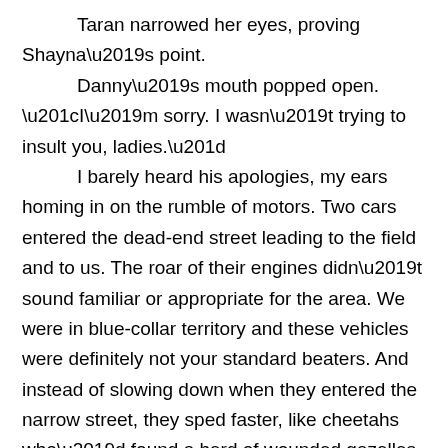Taran narrowed her eyes, proving Shayna's point.
	Danny's mouth popped open. “I'm sorry. I wasn't trying to insult you, ladies.”
	I barely heard his apologies, my ears homing in on the rumble of motors. Two cars entered the dead-end street leading to the field and to us. The roar of their engines didn’t sound familiar or appropriate for the area. We were in blue-collar territory and these vehicles were definitely not your standard beaters. And instead of slowing down when they entered the narrow street, they sped faster, like cheetahs who’d found a herd of wounded gazelles.
	My tigress growled a warning. Taran’s blue eyes blanched to white, her magic sensing another’s approach.